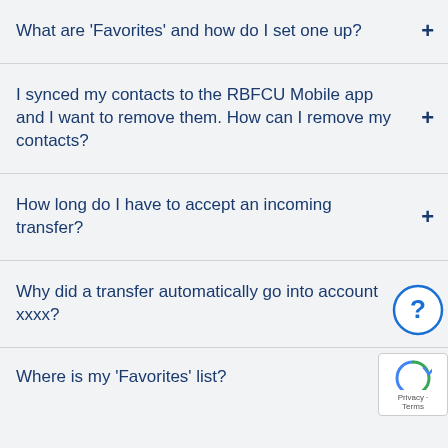What are 'Favorites' and how do I set one up?
I synced my contacts to the RBFCU Mobile app and I want to remove them. How can I remove my contacts?
How long do I have to accept an incoming transfer?
Why did a transfer automatically go into account xxxx?
Where is my 'Favorites' list?
[Figure (illustration): Blue circle with question mark help button icon]
[Figure (logo): Google reCAPTCHA badge with Privacy and Terms links]